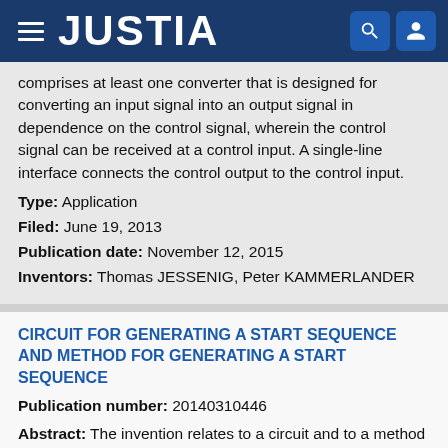JUSTIA
comprises at least one converter that is designed for converting an input signal into an output signal in dependence on the control signal, wherein the control signal can be received at a control input. A single-line interface connects the control output to the control input.
Type: Application
Filed: June 19, 2013
Publication date: November 12, 2015
Inventors: Thomas JESSENIG, Peter KAMMERLANDER
CIRCUIT FOR GENERATING A START SEQUENCE AND METHOD FOR GENERATING A START SEQUENCE
Publication number: 20140310446
Abstract: The invention relates to a circuit and to a method for generating a start sequence. The circuit comprises at least one partially programmable memory